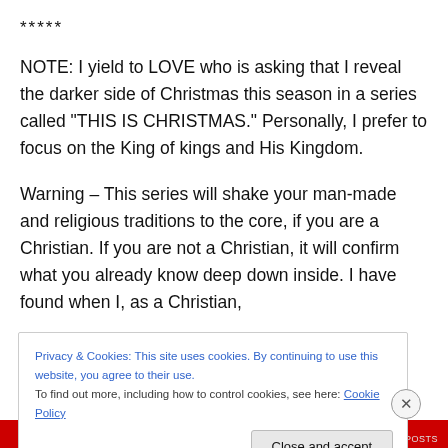*****
NOTE: I yield to LOVE who is asking that I reveal the darker side of Christmas this season in a series called “THIS IS CHRISTMAS.” Personally, I prefer to focus on the King of kings and His Kingdom.
Warning – This series will shake your man-made and religious traditions to the core, if you are a Christian. If you are not a Christian, it will confirm what you already know deep down inside. I have found when I, as a Christian,
Privacy & Cookies: This site uses cookies. By continuing to use this website, you agree to their use.
To find out more, including how to control cookies, see here: Cookie Policy
Close and accept